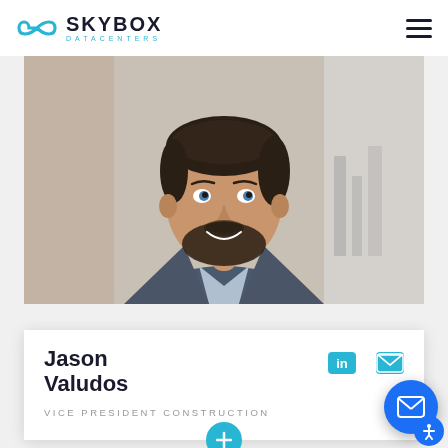[Figure (logo): Skybox Datacenters logo with infinity-style icon and company name]
[Figure (photo): Professional headshot of Jason Valudos, a man with dark hair and beard wearing a grey blazer and light blue striped shirt, smiling, with an out-of-focus window background]
Jason Valudos
VICE PRESIDENT CONSTRUCTION